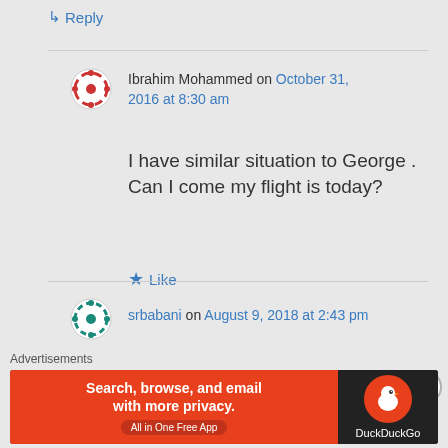↳ Reply
Ibrahim Mohammed on October 31, 2016 at 8:30 am
I have similar situation to George . Can I come my flight is today?
★ Like
srbabani on August 9, 2018 at 2:43 pm
officers take any money for visa ??
Advertisements
[Figure (screenshot): DuckDuckGo advertisement banner: Search, browse, and email with more privacy. All in One Free App.]